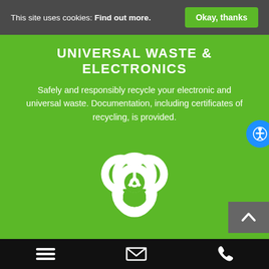This site uses cookies: Find out more. Okay, thanks
UNIVERSAL WASTE & ELECTRONICS
Safely and responsibly recycle your electronic and universal waste. Documentation, including certificates of recycling, is provided.
[Figure (illustration): Biohazard symbol in white on green background]
BIOMEDICAL WASTE DISPOSAL
No contract, full service biomedical waste disposal when you need it. We build relationships that reduce
Mobile navigation bar with menu, email, and phone icons